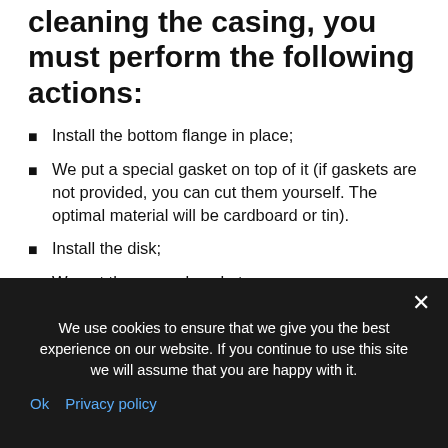cleaning the casing, you must perform the following actions:
Install the bottom flange in place;
We put a special gasket on top of it (if gaskets are not provided, you can cut them yourself. The optimal material will be cardboard or tin).
Install the disk;
We put the second gasket;
Install the top flange on top;
We wrap the upper flange by hand in the opposite direction from the rotation of the angle grinder wheel, while holding the disk itself;
We use cookies to ensure that we give you the best experience on our website. If you continue to use this site we will assume that you are happy with it.
Ok  Privacy policy